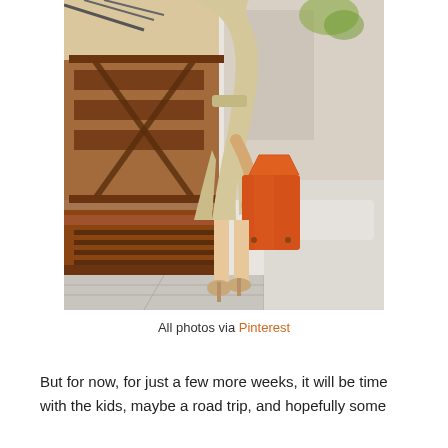[Figure (photo): A woman in a beige/cream trench coat holding an orange structured bag, standing on a street sidewalk near wooden furniture/railings. Only her lower body and arm are visible.]
All photos via Pinterest
But for now, for just a few more weeks, it will be time with the kids, maybe a road trip, and hopefully some